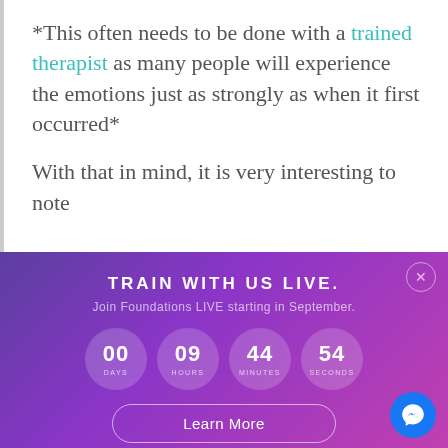*This often needs to be done with a trained therapist as many people will experience the emotions just as strongly as when it first occurred*
With that in mind, it is very interesting to note
[Figure (infographic): Purple-to-magenta gradient banner with countdown timer showing 00 days, 09 hours, 44 minutes, 54 seconds, title TRAIN WITH US LIVE., subtitle Join Foundations LIVE starting in September., and a Learn More button]